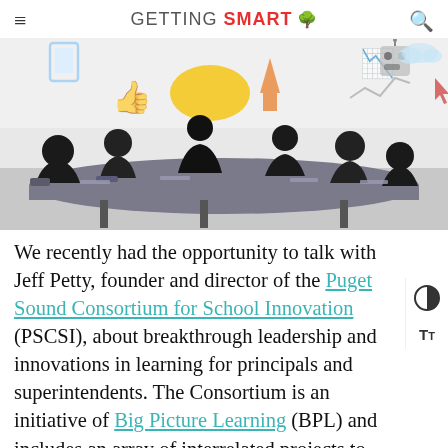GETTING SMART
[Figure (photo): Silhouettes of people sitting around a conference table with colorful education and technology icons (speech bubbles, thumbs up, charts, robots, tablets) illustrated in the background on a white wall.]
We recently had the opportunity to talk with Jeff Petty, founder and director of the Puget Sound Consortium for School Innovation (PSCSI), about breakthrough leadership and innovations in learning for principals and superintendents. The Consortium is an initiative of Big Picture Learning (BPL) and includes an array of interrelated projects to develop a replicable regional learning lab for public school innovation. It partners with public and charter